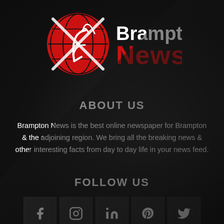[Figure (logo): Brampton News logo: red globe with satellite dish icon on left, 'Brampton' in white bold text and 'News' in large red bold text on right]
ABOUT US
Brampton News is the best online newspaper for Brampton & the adjoining region. We bring all the breaking news & other interesting facts from day to day life in your news feed.
FOLLOW US
[Figure (infographic): Five social media icon boxes for Facebook, Instagram, LinkedIn, Pinterest, and Twitter on dark grey square backgrounds]